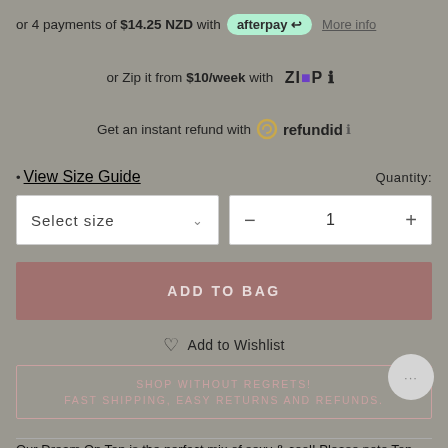or 4 payments of $14.25 NZD with afterpay More info
or Zip it from $10/week with Zip
Get an instant refund with refundid
• View Size Guide   Quantity:
Select size   − 1 +
ADD TO BAG
Add to Wishlist
SHOP WITHOUT REGRETS!
FAST SHIPPING, EASY RETURNS AND REFUNDS.
Our Dream On Top is the perfect mix of sexy & cool! Please note Top and Skirt are sold separately.